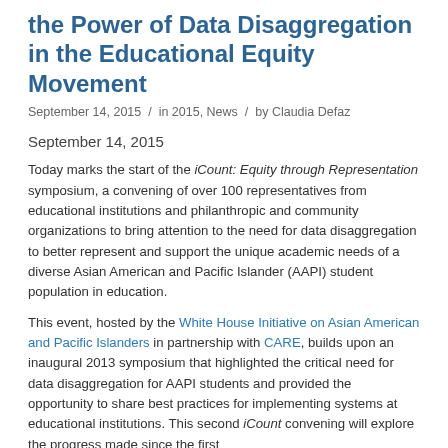the Power of Data Disaggregation in the Educational Equity Movement
September 14, 2015 / in 2015, News / by Claudia Defaz
September 14, 2015
Today marks the start of the iCount: Equity through Representation symposium, a convening of over 100 representatives from educational institutions and philanthropic and community organizations to bring attention to the need for data disaggregation to better represent and support the unique academic needs of a diverse Asian American and Pacific Islander (AAPI) student population in education.
This event, hosted by the White House Initiative on Asian American and Pacific Islanders in partnership with CARE, builds upon an inaugural 2013 symposium that highlighted the critical need for data disaggregation for AAPI students and provided the opportunity to share best practices for implementing systems at educational institutions. This second iCount convening will explore the progress made since the first